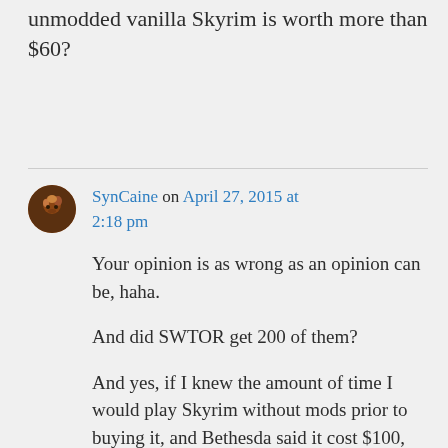unmodded vanilla Skyrim is worth more than $60?
SynCaine on April 27, 2015 at 2:18 pm
Your opinion is as wrong as an opinion can be, haha.
And did SWTOR get 200 of them?
And yes, if I knew the amount of time I would play Skyrim without mods prior to buying it, and Bethesda said it cost $100, I'd spend that